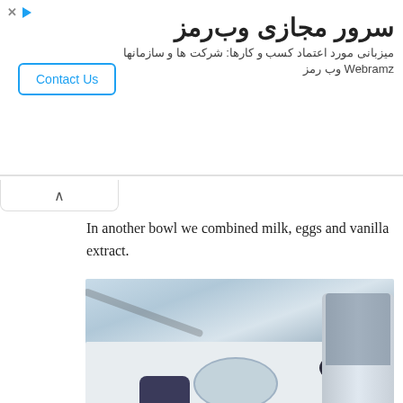سرور مجازی وب‌رمز — میزبانی مورد اعتماد کسب و کارها: شرکت ها و سازمانها Webramz وب رمز
In another bowl we combined milk, eggs and vanilla extract.
[Figure (photo): Kitchen counter scene with a food processor/blender on the right, a glass bowl containing blueberries in the center, a small dark ramekin with white pieces (possibly chocolate or marshmallows) on the left, and a dark cord/tube visible running across the white counter surface.]